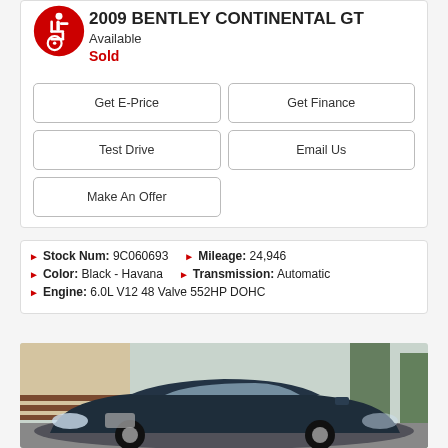2009 BENTLEY CONTINENTAL GT
Available
Sold
Get E-Price
Get Finance
Test Drive
Email Us
Make An Offer
Stock Num: 9C060693   Mileage: 24,946
Color: Black - Havana   Transmission: Automatic
Engine: 6.0L V12 48 Valve 552HP DOHC
[Figure (photo): Photo of a dark-colored 2009 Bentley Continental GT parked outdoors with trees and a building in the background]